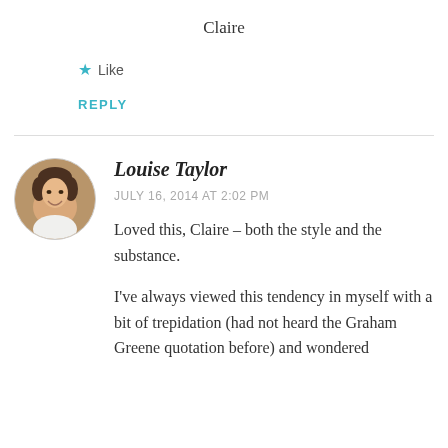Claire
★ Like
REPLY
[Figure (photo): Circular avatar photo of Louise Taylor, a woman smiling, wearing white, with hair up]
Louise Taylor
JULY 16, 2014 AT 2:02 PM
Loved this, Claire – both the style and the substance.
I've always viewed this tendency in myself with a bit of trepidation (had not heard the Graham Greene quotation before) and wondered